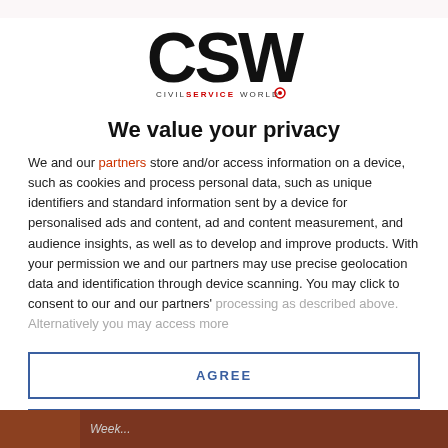[Figure (logo): CSW Civil Service World logo with large bold CSW letters and tagline 'CIVIL SERVICE WORLD' with a small icon]
We value your privacy
We and our partners store and/or access information on a device, such as cookies and process personal data, such as unique identifiers and standard information sent by a device for personalised ads and content, ad and content measurement, and audience insights, as well as to develop and improve products. With your permission we and our partners may use precise geolocation data and identification through device scanning. You may click to consent to our and our partners' processing as described above. Alternatively you may access more
AGREE
MORE OPTIONS